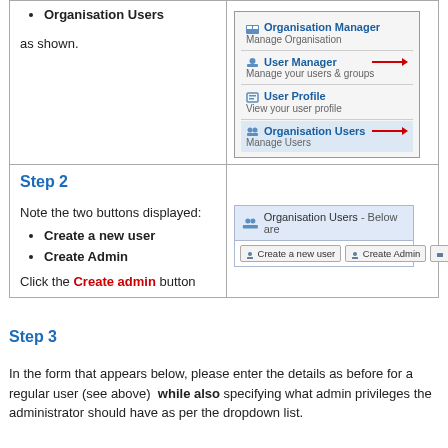Organisation Users
as shown.
[Figure (screenshot): Dropdown menu showing Organisation Manager, User Manager (with red arrow), User Profile, and Organisation Users (with red arrow, highlighted)]
Step 2
Note the two buttons displayed:
Create a new user
Create Admin
Click the Create admin button
[Figure (screenshot): Organisation Users page header showing Create a new user, Create Admin, and a third button partially visible]
Step 3
In the form that appears below, please enter the details as before for a regular user (see above)  while also specifying what admin privileges the administrator should have as per the dropdown list.